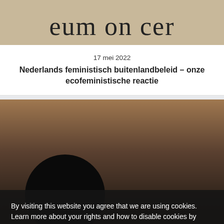[Figure (photo): Top portion of a page showing serif text partially visible: 'eum on cer...' on a warm beige/tan background]
17 mei 2022
Nederlands feministisch buitenlandbeleid – onze ecofeministische reactie
[Figure (photo): Dark blurred photo showing a person's head (dark hair, silhouette) against a warm brownish-orange background, with partially visible text at bottom right]
By visiting this website you agree that we are using cookies. Learn more about your rights and how to disable cookies by clicking "Privacy Preferences".
Privacy Preferences
I Agree